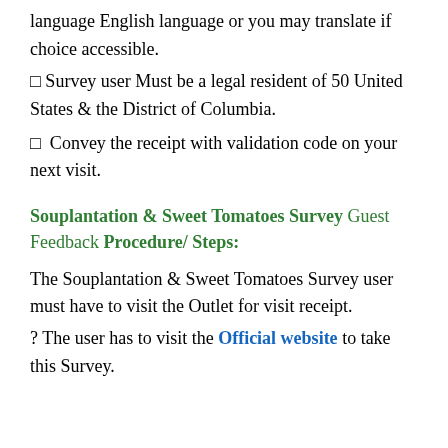language English language or you may translate if choice accessible.
☐ Survey user Must be a legal resident of 50 United States & the District of Columbia.
☐ Convey the receipt with validation code on your next visit.
Souplantation & Sweet Tomatoes Survey Guest Feedback Procedure/ Steps:
The Souplantation & Sweet Tomatoes Survey user must have to visit the Outlet for visit receipt.
? The user has to visit the Official website to take this Survey.